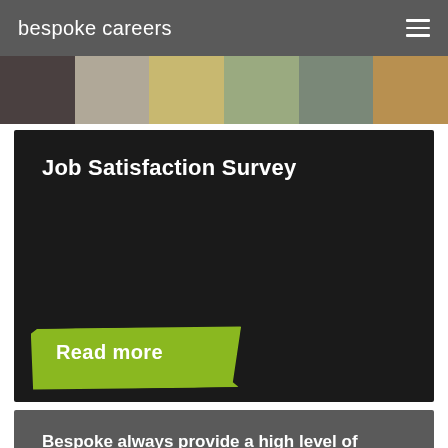bespoke careers
[Figure (photo): Photo strip showing people at a social event, partially visible at top of page]
Job Satisfaction Survey
Read more
Bespoke always provide a high level of